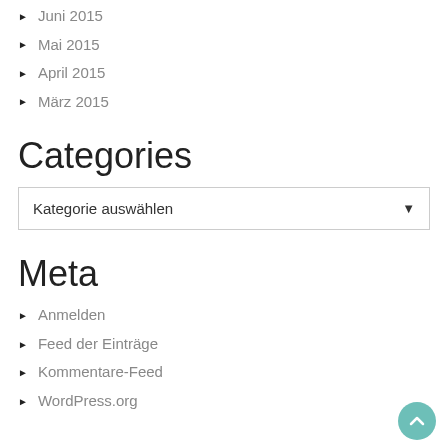Juni 2015
Mai 2015
April 2015
März 2015
Categories
Kategorie auswählen
Meta
Anmelden
Feed der Einträge
Kommentare-Feed
WordPress.org